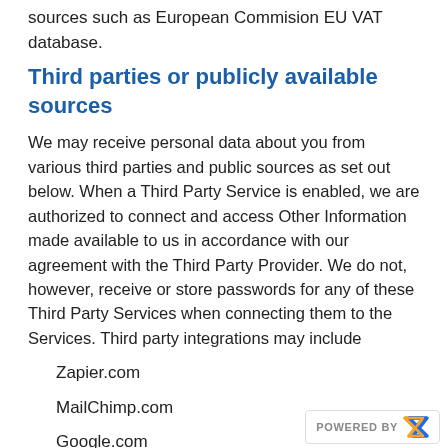sources such as European Commision EU VAT database.
Third parties or publicly available sources
We may receive personal data about you from various third parties and public sources as set out below. When a Third Party Service is enabled, we are authorized to connect and access Other Information made available to us in accordance with our agreement with the Third Party Provider. We do not, however, receive or store passwords for any of these Third Party Services when connecting them to the Services. Third party integrations may include
Zapier.com
MailChimp.com
Google.com
Facebook.com